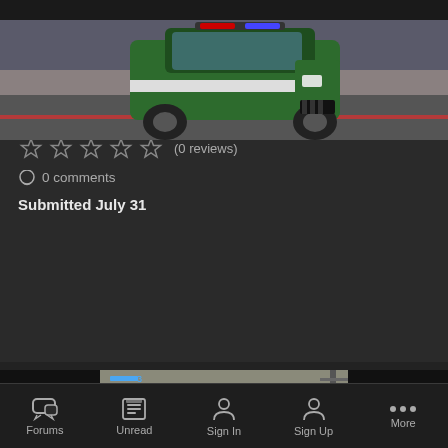[Figure (photo): Screenshot of a green and white police Ford Explorer SUV (Carabineros de Chile livery) in a video game environment, viewed from front-left angle on a road]
Ford Explorer de Carabineros De Chile
By Matias133
Este es mi primer mod para este juego pero no va a ser el ultimo a si que preparense porque se les metio otro chileno a su comunidad 🇨🇱
⬇ 1 download
★★★★★ (0 reviews)
💬 0 comments
Submitted July 31
[Figure (screenshot): Partial screenshot of another vehicle mod showing a white vehicle from aerial view with HUD elements visible]
Forums   Unread   Sign In   Sign Up   More